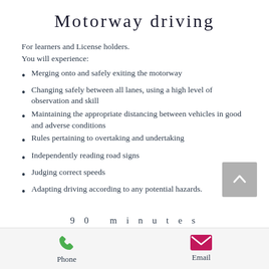Motorway driving
For learners and License holders.
You will experience:
Merging onto and safely exiting the motorway
Changing safely between all lanes, using a high level of observation and skill
Maintaining the appropriate distancing between vehicles in good and adverse conditions
Rules pertaining to overtaking and undertaking
Independently reading road signs
Judging correct speeds
Adapting driving according to any potential hazards.
90 minutes
Phone   Email